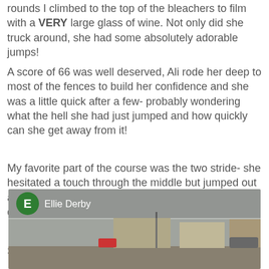rounds I climbed to the top of the bleachers to film with a VERY large glass of wine. Not only did she truck around, she had some absolutely adorable jumps!
A score of 66 was well deserved, Ali rode her deep to most of the fences to build her confidence and she was a little quick after a few- probably wondering what the hell she had just jumped and how quickly can she get away from it!
My favorite part of the course was the two stride- she hesitated a touch through the middle but jumped out and got some airtime! And the lovely hand gallop down to the last oxer!
So proud of her!
[Figure (screenshot): A screenshot of a social media video post by Ellie Derby showing an outdoor scene with buildings and a ground-level view, with a green avatar circle with letter E and the name 'Ellie Derby' overlaid at the top.]